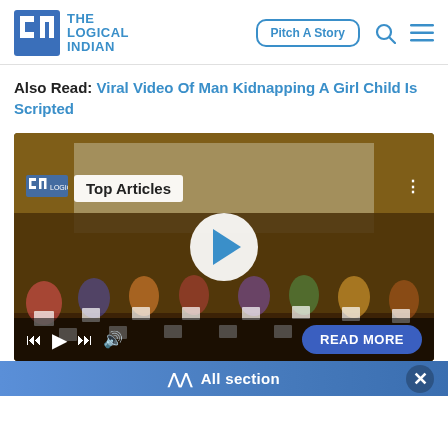The Logical Indian — Pitch A Story
Also Read: Viral Video Of Man Kidnapping A Girl Child Is Scripted
[Figure (screenshot): Video player showing a group of children and young people holding certificates at an event with a 'Top Articles' overlay badge and a play button in the center. Media controls visible at the bottom with a READ MORE button.]
All section